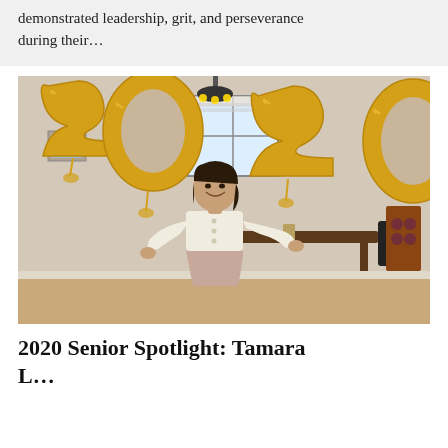demonstrated leadership, grit, and perseverance during their...
[Figure (photo): A young woman smiling and holding large gold foil number balloons spelling '2020' in an indoor setting with a dining area in the background.]
2020 Senior Spotlight: Tamara L...